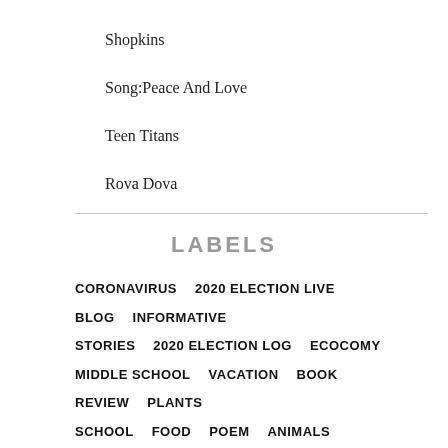Shopkins
Song:Peace And Love
Teen Titans
Rova Dova
LABELS
CORONAVIRUS   2020 ELECTION LIVE BLOG   INFORMATIVE   STORIES   2020 ELECTION LOG   ECOCOMY   MIDDLE SCHOOL   VACATION   BOOK REVIEW   PLANTS   SCHOOL   FOOD   POEM   ANIMALS   MIDDLE SCHOOL TALES   FUN   BOOKS   PROTESTS   2020 ELECTION   AMERICAN GIRL DOLL   EXCITING   FAMILY   FRIENDS   PARTY   DEBATE   NATIONAL PARKS